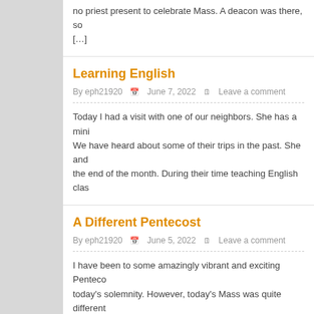no priest present to celebrate Mass. A deacon was there, so […]
Learning English
By eph21920  June 7, 2022  Leave a comment
Today I had a visit with one of our neighbors. She has a mini… We have heard about some of their trips in the past. She and… the end of the month. During their time teaching English clas…
A Different Pentecost
By eph21920  June 5, 2022  Leave a comment
I have been to some amazingly vibrant and exciting Penteco… today's solemnity. However, today's Mass was quite different… to use a microphone, because when he celebrated Mass ear… wasn't working. It was more […]
A Di…